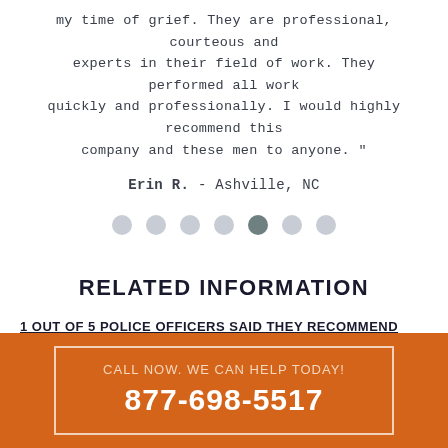my time of grief. They are professional, courteous and experts in their field of work. They performed all work quickly and professionally. I would highly recommend this company and these men to anyone. "
Erin R. - Ashville, NC
[Figure (other): Pagination dots indicator with 7 dots, the 5th (middle-right) dot is active/darker]
RELATED INFORMATION
1 OUT OF 5 POLICE OFFICERS SAID THEY RECOMMEND
CALL NOW. WE CAN HELP TODAY!
877-698-5517